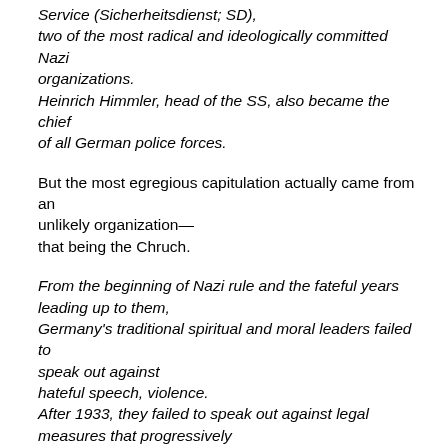Service (Sicherheitsdienst; SD), two of the most radical and ideologically committed Nazi organizations. Heinrich Himmler, head of the SS, also became the chief of all German police forces.
But the most egregious capitulation actually came from an unlikely organization— that being the Chruch.
From the beginning of Nazi rule and the fateful years leading up to them, Germany's traditional spiritual and moral leaders failed to speak out against hateful speech, violence. After 1933, they failed to speak out against legal measures that progressively